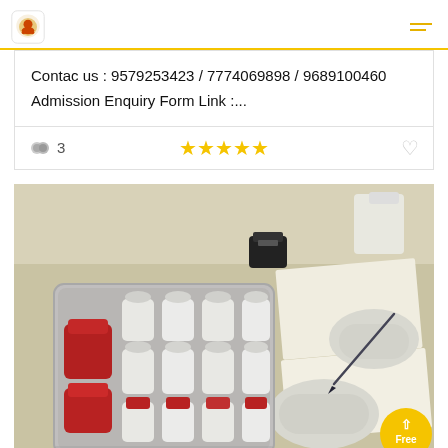Logo and navigation header with yellow underline
Contac us : 9579253423 / 7774069898 / 9689100460
Admission Enquiry Form Link :...
3  ★★★★★  ♡
[Figure (photo): Laboratory scene showing a metal tray filled with white plastic bottles and red-capped sample containers, alongside a person wearing white gloves writing on paper with a pen, on a beige laboratory bench. A black device (possibly a pulse oximeter or stamp) is visible in the background.]